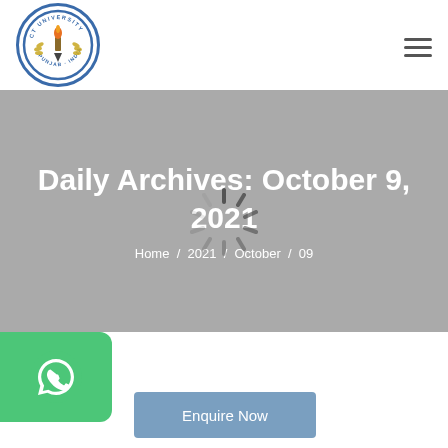[Figure (logo): CT University Punjab India circular logo with torch and pen]
Daily Archives: October 9, 2021
Home / 2021 / October / 09
[Figure (other): Loading spinner/activity indicator circle]
[Figure (other): WhatsApp chat button - green circle with phone icon]
Enquire Now